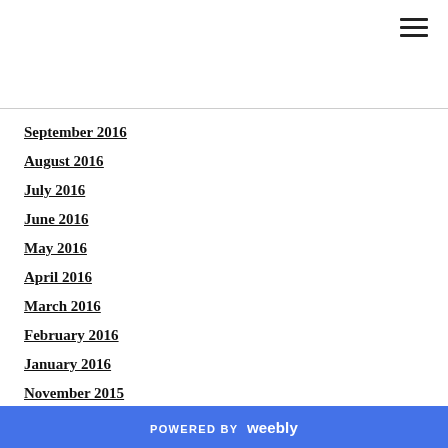September 2016
August 2016
July 2016
June 2016
May 2016
April 2016
March 2016
February 2016
January 2016
November 2015
October 2015
September 2015
August 2015
July 2015
June 2015
POWERED BY weebly